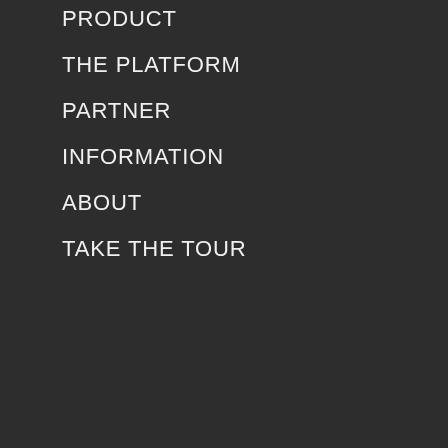PRODUCT
THE PLATFORM
PARTNER
INFORMATION
ABOUT
TAKE THE TOUR
USA - Headquarters
CANADA
INDIA
EUROPE